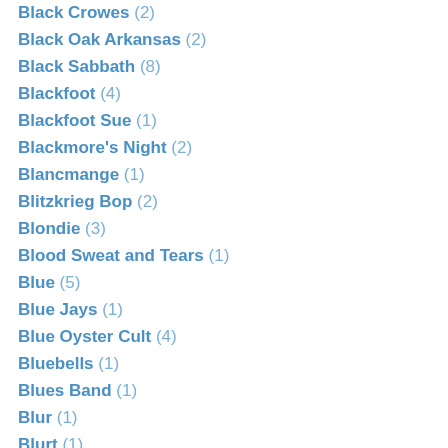Black Crowes (2)
Black Oak Arkansas (2)
Black Sabbath (8)
Blackfoot (4)
Blackfoot Sue (1)
Blackmore's Night (2)
Blancmange (1)
Blitzkrieg Bop (2)
Blondie (3)
Blood Sweat and Tears (1)
Blue (5)
Blue Jays (1)
Blue Oyster Cult (4)
Bluebells (1)
Blues Band (1)
Blur (1)
Blurt (1)
Bo Diddley (2)
Bob Dylan (18)
Bob Geldof (2)